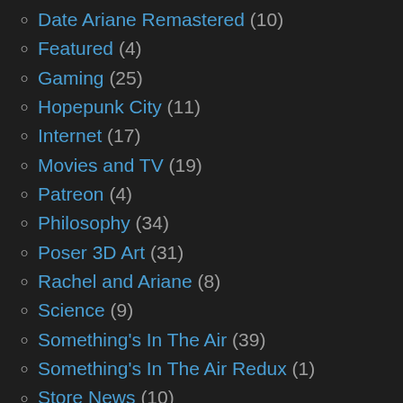Date Ariane Remastered (10)
Featured (4)
Gaming (25)
Hopepunk City (11)
Internet (17)
Movies and TV (19)
Patreon (4)
Philosophy (34)
Poser 3D Art (31)
Rachel and Ariane (8)
Science (9)
Something's In The Air (39)
Something's In The Air Redux (1)
Store News (10)
Strip Crazy Eights (1)
Virtual Worlds (30)
Visual Novels (22)
Website News (13)
Weekly Art (1)